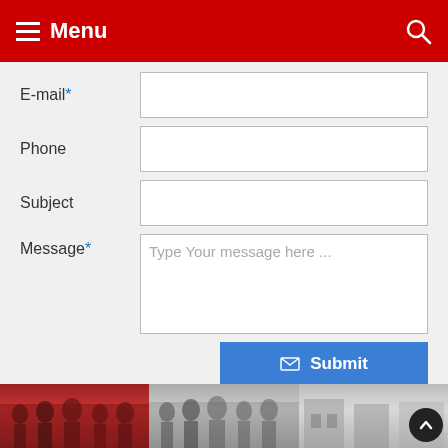Menu
E-mail* [input field]
Phone [input field]
Subject [input field]
Message* [textarea: Type Your message here ...]
Submit
Address : 214 Harmony Road
Middletown, NJ 07748
Phone: (732) 856-9700
[Figure (photo): Three photo panels at bottom: group photo with red background, group of students/people in gray tones, and street scene in gray tones. Scroll-to-top button on far right.]